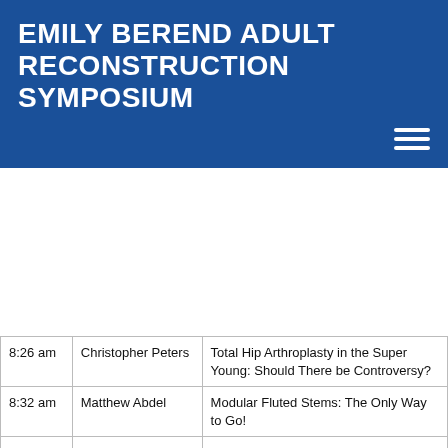EMILY BEREND ADULT RECONSTRUCTION SYMPOSIUM
| Time | Speaker | Topic |
| --- | --- | --- |
| 8:26 am | Christopher Peters | Total Hip Arthroplasty in the Super Young: Should There be Controversy? |
| 8:32 am | Matthew Abdel | Modular Fluted Stems: The Only Way to Go! |
| 8:38 am | Michael Berend | Monoblock Revision Stem for THA Revision: Press the Easy Button! |
| 8:44 am | Bill Jiranek | Discussion |
| 8:54 am | Matthew Abdel
Sam Wellman | Cadaver Demo: Revision TKA, Cones and Extensor Mechanism Reconstruction- Stryker TS Revision and Cones, aortic graf vs Marlex |
|  | Moderator | Thorsten Seyler |
| 9:30 |  |  |